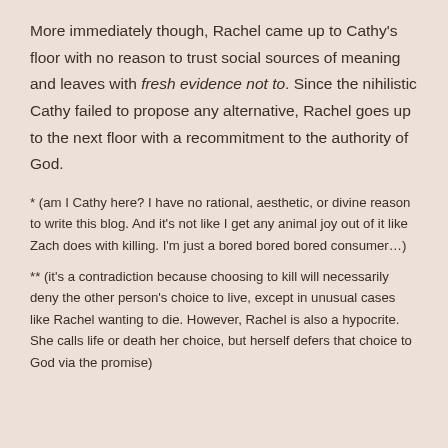More immediately though, Rachel came up to Cathy's floor with no reason to trust social sources of meaning and leaves with fresh evidence not to. Since the nihilistic Cathy failed to propose any alternative, Rachel goes up to the next floor with a recommitment to the authority of God.
* (am I Cathy here? I have no rational, aesthetic, or divine reason to write this blog. And it's not like I get any animal joy out of it like Zach does with killing. I'm just a bored bored bored consumer…)
** (it's a contradiction because choosing to kill will necessarily deny the other person's choice to live, except in unusual cases like Rachel wanting to die. However, Rachel is also a hypocrite. She calls life or death her choice, but herself defers that choice to God via the promise)